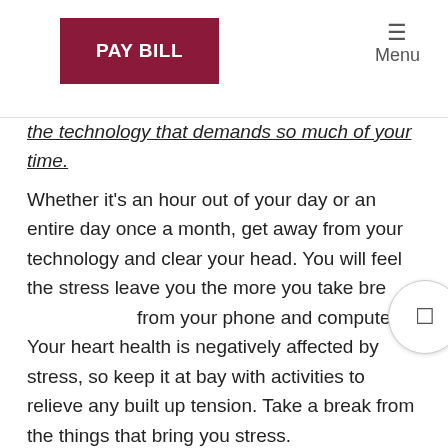PAY BILL | Menu
the technology that demands so much of your time.
Whether it's an hour out of your day or an entire day once a month, get away from your technology and clear your head. You will feel the stress leave you the more you take breaks from your phone and computer. Your heart health is negatively affected by stress, so keep it at bay with activities to relieve any built up tension. Take a break from the things that bring you stress.
Get Active
Give your heart a workout as you work out. Raising your pulse is important to keep your heart strong. Medical